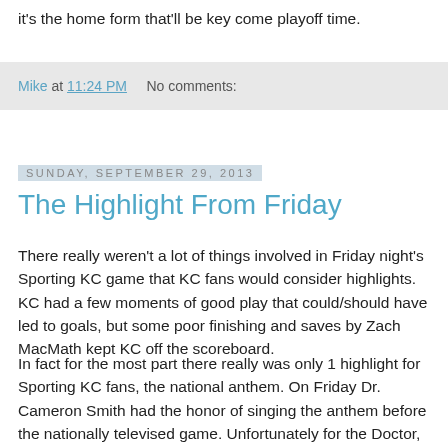it's the home form that'll be key come playoff time.
Mike at 11:24 PM    No comments:
Sunday, September 29, 2013
The Highlight From Friday
There really weren't a lot of things involved in Friday night's Sporting KC game that KC fans would consider highlights. KC had a few moments of good play that could/should have led to goals, but some poor finishing and saves by Zach MacMath kept KC off the scoreboard.
In fact for the most part there really was only 1 highlight for Sporting KC fans, the national anthem. On Friday Dr. Cameron Smith had the honor of singing the anthem before the nationally televised game. Unfortunately for the Doctor, as he started to sing, the microphone did not work for him. As is tradition in many stadiums as the anthem singer started singing, so did a great number of fans in the stadium. Once it